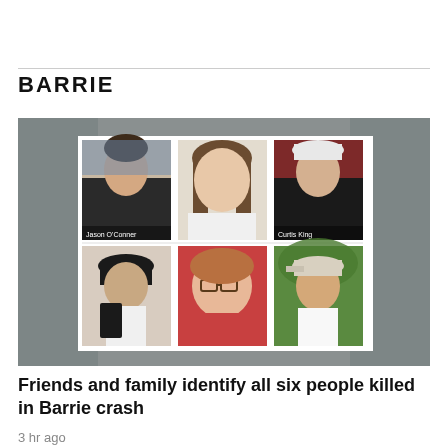BARRIE
[Figure (photo): A 2x3 grid of portrait photos showing six young people identified as victims of the Barrie crash. Top row left: Jason O'Conner (young man in black t-shirt). Top row center: young woman with long brown hair in white top. Top row right: Curtis King (man in black t-shirt and white hat). Bottom row left: young man with black cap holding phone. Bottom row center: young woman with glasses and red top. Bottom row right: young man with backward cap outdoors.]
Friends and family identify all six people killed in Barrie crash
3 hr ago